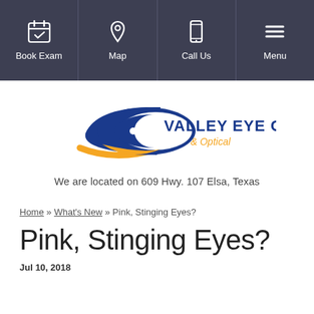Book Exam | Map | Call Us | Menu
[Figure (logo): Valley Eye Care & Optical logo with blue eye/C shape and gold swoosh]
We are located on 609 Hwy. 107 Elsa, Texas
Home » What's New » Pink, Stinging Eyes?
Pink, Stinging Eyes?
Jul 10, 2018